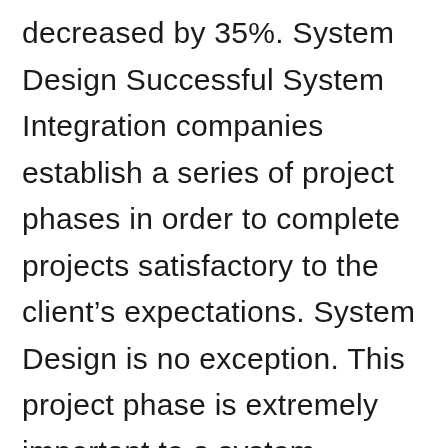decreased by 35%. System Design Successful System Integration companies establish a series of project phases in order to complete projects satisfactory to the client’s expectations. System Design is no exception. This project phase is extremely important to a system integration project because it’s the clearest way to communicate the parameters of the project to the end customer as well as in-house to team